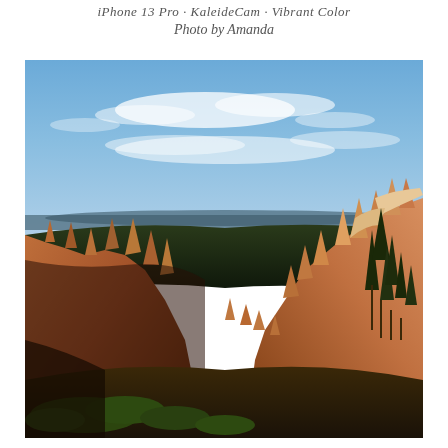iPhone 13 Pro · KaleideCam · Vibrant Color
Photo by Amanda
[Figure (photo): Landscape photograph of Bryce Canyon National Park showing red and orange hoodoo rock formations rising from the canyon floor, with dark green pine trees, a deep canyon valley in the middle distance, and a blue sky with wispy white clouds above.]